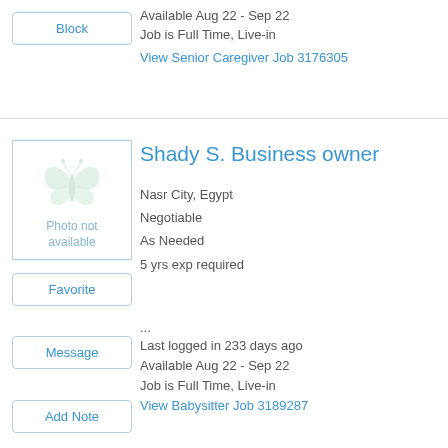Block
Available Aug 22 - Sep 22
Job is Full Time, Live-in
View Senior Caregiver Job 3176305
[Figure (illustration): Photo not available placeholder with butterfly watermark]
Shady S. Business owner
Nasr City, Egypt
Negotiable
As Needed
5 yrs exp required
...
Last logged in 233 days ago
Available Aug 22 - Sep 22
Job is Full Time, Live-in
View Babysitter Job 3189287
Favorite
Message
Add Note
Block